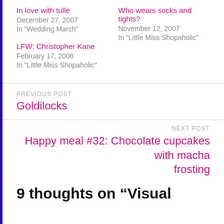In love with tulle
December 27, 2007
In "Wedding March"
Who wears socks and tights?
November 12, 2007
In "Little Miss Shopaholic"
LFW: Christopher Kane
February 17, 2008
In "Little Miss Shopaholic"
PREVIOUS POST
Goldilocks
NEXT POST
Happy meal #32: Chocolate cupcakes with macha frosting
9 thoughts on “Visual